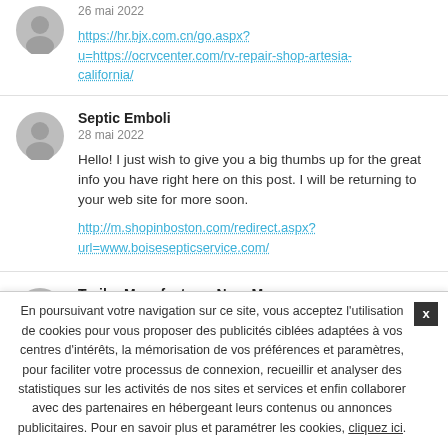26 mai 2022
https://hr.bjx.com.cn/go.aspx?u=https://ocrvcenter.com/rv-repair-shop-artesia-california/
Septic Emboli
28 mai 2022
Hello! I just wish to give you a big thumbs up for the great info you have right here on this post. I will be returning to your web site for more soon.
http://m.shopinboston.com/redirect.aspx?url=www.boisesepticservice.com/
Trailer Manufacturer Near Me
17 juin 2022
Very good write-up, I definitely appreciate this
En poursuivant votre navigation sur ce site, vous acceptez l'utilisation de cookies pour vous proposer des publicités ciblées adaptées à vos centres d'intérêts, la mémorisation de vos préférences et paramètres, pour faciliter votre processus de connexion, recueillir et analyser des statistiques sur les activités de nos sites et services et enfin collaborer avec des partenaires en hébergeant leurs contenus ou annonces publicitaires. Pour en savoir plus et paramétrer les cookies, cliquez ici.